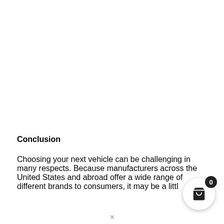Conclusion
Choosing your next vehicle can be challenging in many respects. Because manufacturers across the United States and abroad offer a wide range of different brands to consumers, it may be a little